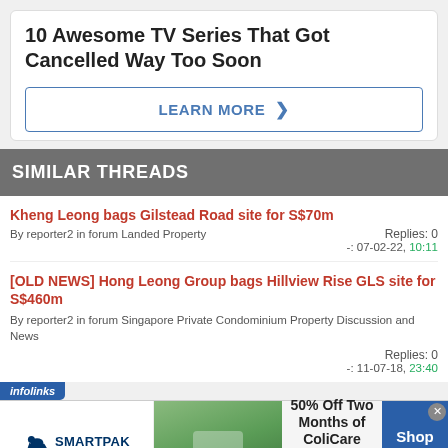10 Awesome TV Series That Got Cancelled Way Too Soon
LEARN MORE >
SIMILAR THREADS
Kheng Leong bags Gilstead Road site for S$70m
By reporter2 in forum Landed Property
Replies: 0
-: 07-02-22, 10:11
[OLD NEWS] Hong Leong Group bags Hillview Rise GLS site for S$460m
By reporter2 in forum Singapore Private Condominium Property Discussion and News
Replies: 0
-: 11-07-18, 23:40
[Figure (screenshot): SmartPak advertisement banner: 50% Off Two Months of ColiCare, ColiCare Eligible Supplements, CODE: COLICARE10, Shop Now button]